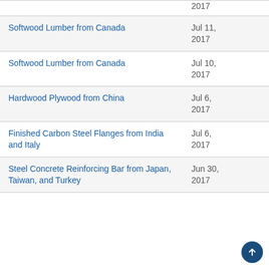Softwood Lumber from Canada
Softwood Lumber from Canada
Hardwood Plywood from China
Finished Carbon Steel Flanges from India and Italy
Steel Concrete Reinforcing Bar from Japan, Taiwan, and Turkey